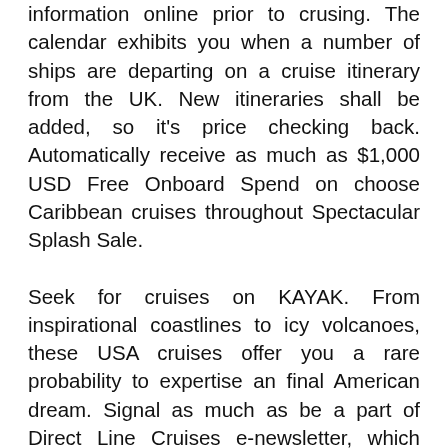information online prior to crusing. The calendar exhibits you when a number of ships are departing on a cruise itinerary from the UK. New itineraries shall be added, so it's price checking back. Automatically receive as much as $1,000 USD Free Onboard Spend on choose Caribbean cruises throughout Spectacular Splash Sale.
Seek for cruises on KAYAK. From inspirational coastlines to icy volcanoes, these USA cruises offer you a rare probability to expertise an final American dream. Signal as much as be a part of Direct Line Cruises e-newsletter, which comprises cruise information, critiques and EXCLUSIVE cruise offers. Moreover the eating room, fashionable cruise ships usually include a number of informal buffet-fashion eateries, which may be open 24 hours and with menus that change all through the day to